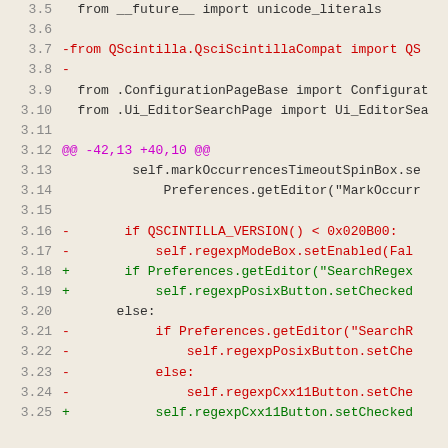[Figure (screenshot): Code diff screenshot showing Python source file changes with line numbers, deleted lines in red, added lines in green, and hunk markers in purple, on a light beige background.]